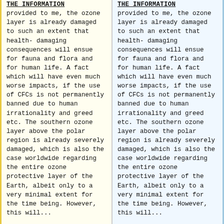THE INFORMATION provided to me, the ozone layer is already damaged to such an extent that health-damaging consequences will ensue for fauna and flora and for human life. A fact which will have even much worse impacts, if the use of CFCs is not permanently banned due to human irrationality and greed etc. The southern ozone layer above the polar region is already severely damaged, which is also the case worldwide regarding the entire ozone protective layer of the Earth, albeit only to a very minimal extent for the time being. However, this will...
THE INFORMATION provided to me, the ozone layer is already damaged to such an extent that health-damaging consequences will ensue for fauna and flora and for human life. A fact which will have even much worse impacts, if the use of CFCs is not permanently banned due to human irrationality and greed etc. The southern ozone layer above the polar region is already severely damaged, which is also the case worldwide regarding the entire ozone protective layer of the Earth, albeit only to a very minimal extent for the time being. However, this will...